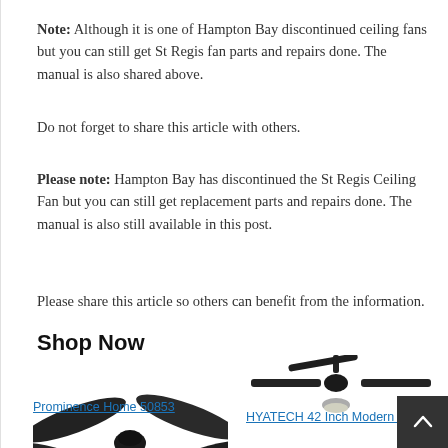Note: Although it is one of Hampton Bay discontinued ceiling fans but you can still get St Regis fan parts and repairs done. The manual is also shared above.
Do not forget to share this article with others.
Please note: Hampton Bay has discontinued the St Regis Ceiling Fan but you can still get replacement parts and repairs done. The manual is also still available in this post.
Please share this article so others can benefit from the information.
Shop Now
[Figure (photo): Prominence Home 50853 ceiling fan product image - dark/black flush mount ceiling fan with light kit]
Prominence Home 50853
[Figure (photo): HYATECH 42 Inch Modern ceiling fan with dark blades, light kit, and remote control shown in product image]
HYATECH 42 Inch Modern S